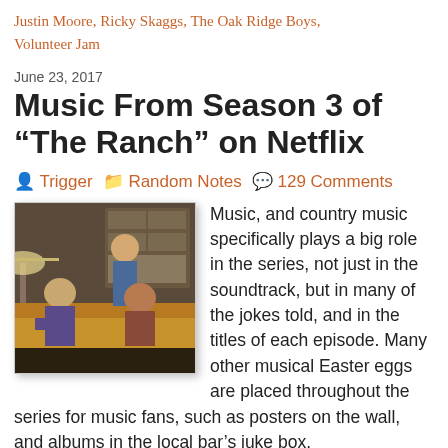Justin Moore, Ricky Skaggs, The Oak Ridge Boys, Volunteer Jam
June 23, 2017
Music From Season 3 of “The Ranch” on Netflix
👤 Trigger 📁 Random Notes 💬 129 Comments
[Figure (photo): Scene from The Ranch Netflix series showing two men in a bar or living room setting]
Music, and country music specifically plays a big role in the series, not just in the soundtrack, but in many of the jokes told, and in the titles of each episode. Many other musical Easter eggs are placed throughout the series for music fans, such as posters on the wall, and albums in the local bar’s juke box.